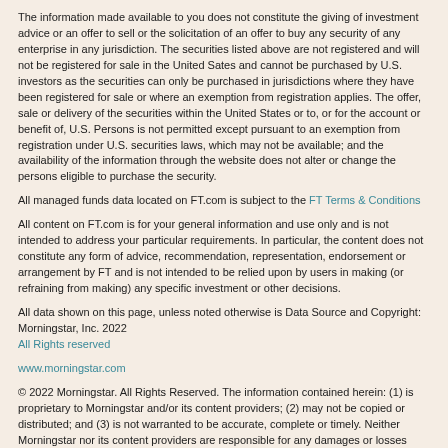The information made available to you does not constitute the giving of investment advice or an offer to sell or the solicitation of an offer to buy any security of any enterprise in any jurisdiction. The securities listed above are not registered and will not be registered for sale in the United Sates and cannot be purchased by U.S. investors as the securities can only be purchased in jurisdictions where they have been registered for sale or where an exemption from registration applies. The offer, sale or delivery of the securities within the United States or to, or for the account or benefit of, U.S. Persons is not permitted except pursuant to an exemption from registration under U.S. securities laws, which may not be available; and the availability of the information through the website does not alter or change the persons eligible to purchase the security.
All managed funds data located on FT.com is subject to the FT Terms & Conditions
All content on FT.com is for your general information and use only and is not intended to address your particular requirements. In particular, the content does not constitute any form of advice, recommendation, representation, endorsement or arrangement by FT and is not intended to be relied upon by users in making (or refraining from making) any specific investment or other decisions.
All data shown on this page, unless noted otherwise is Data Source and Copyright: Morningstar, Inc. 2022
All Rights reserved
www.morningstar.com
© 2022 Morningstar. All Rights Reserved. The information contained herein: (1) is proprietary to Morningstar and/or its content providers; (2) may not be copied or distributed; and (3) is not warranted to be accurate, complete or timely. Neither Morningstar nor its content providers are responsible for any damages or losses arising from any use of this information. Past performance is no guarantee of future results.
Pricing for ETFs is the latest price and not "real time". Share price information may be rounded up/down and therefore not entirely accurate. FT is not responsible for any use of content by you outside its scope